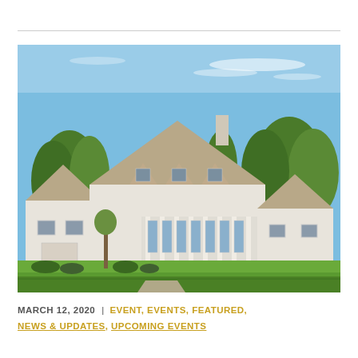[Figure (photo): Exterior photograph of a large white/cream French country-style house with steeply pitched roofs, dormers, a chimney, large windows with columns, surrounded by mature trees and a green lawn under a blue sky.]
MARCH 12, 2020  |  EVENT, EVENTS, FEATURED, NEWS & UPDATES, UPCOMING EVENTS